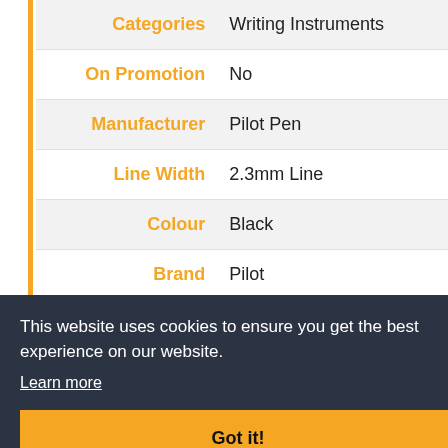| Category | Value |
| --- | --- |
| Categories | Writing Instruments |
| On Promotion | No |
| Manufacturer | Pilot Pen |
| Line Width | 2.3mm Line |
| Colour | Black |
| Brand | Pilot |
| Writes On | Drywipe Boards & |
This website uses cookies to ensure you get the best experience on our website.
Learn more
Got it!